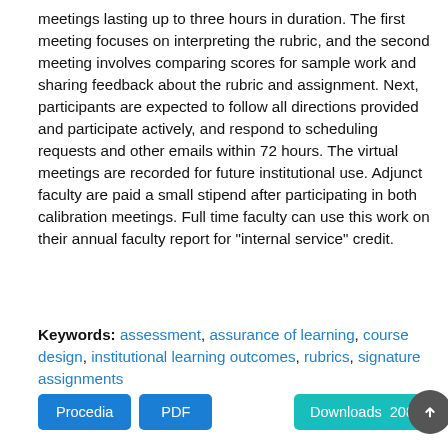meetings lasting up to three hours in duration. The first meeting focuses on interpreting the rubric, and the second meeting involves comparing scores for sample work and sharing feedback about the rubric and assignment. Next, participants are expected to follow all directions provided and participate actively, and respond to scheduling requests and other emails within 72 hours. The virtual meetings are recorded for future institutional use. Adjunct faculty are paid a small stipend after participating in both calibration meetings. Full time faculty can use this work on their annual faculty report for "internal service" credit.
Keywords: assessment, assurance of learning, course design, institutional learning outcomes, rubrics, signature assignments